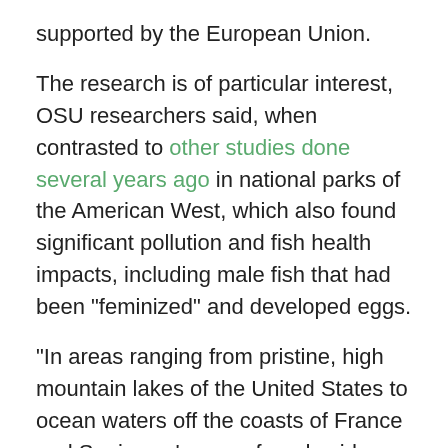supported by the European Union.
The research is of particular interest, OSU researchers said, when contrasted to other studies done several years ago in national parks of the American West, which also found significant pollution and fish health impacts, including male fish that had been "feminized" and developed eggs.
"In areas ranging from pristine, high mountain lakes of the United States to ocean waters off the coasts of France and Spain, we've now found evidence of possible human-caused pollution that's bad enough to have pathological impacts on fish," said Michael Kent, a professor of microbiology in the OSU College of Science, co-author on both these research projects and an international expert on fish disease.
"Deep in the ocean one might have thought that the level of